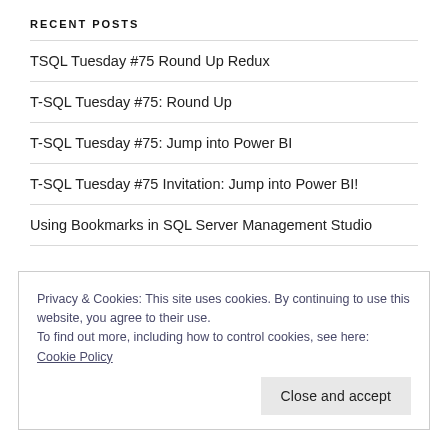RECENT POSTS
TSQL Tuesday #75 Round Up Redux
T-SQL Tuesday #75: Round Up
T-SQL Tuesday #75: Jump into Power BI
T-SQL Tuesday #75 Invitation: Jump into Power BI!
Using Bookmarks in SQL Server Management Studio
Privacy & Cookies: This site uses cookies. By continuing to use this website, you agree to their use. To find out more, including how to control cookies, see here: Cookie Policy
Close and accept